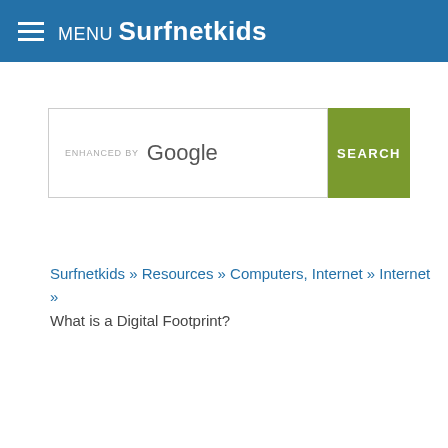MENU Surfnetkids
[Figure (screenshot): Search box with 'ENHANCED BY Google' text and a green SEARCH button]
Surfnetkids » Resources » Computers, Internet » Internet » What is a Digital Footprint?